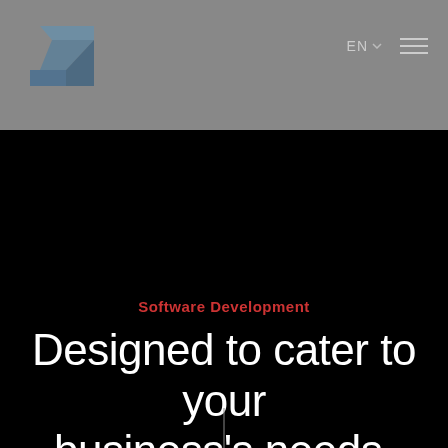[Figure (logo): Stylized angular logo mark in blue-gray tones resembling a lightning bolt or Z/N shape]
EN ∨  ☰
Software Development
Designed to cater to your business's needs.